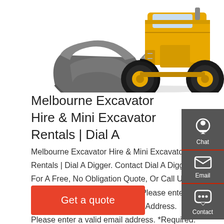[Figure (photo): Yellow front-end loader / wheel excavator with grey bucket, photographed from the front-left angle on white background]
Melbourne Excavator Hire & Mini Excavator Rentals | Dial A
Melbourne Excavator Hire & Mini Excavator Rentals | Dial A Digger. Contact Dial A Digger For A Free, No Obligation Quote, Or Call Us On 1300 234 443 today! ×. Name. Please enter a contact name. *Required. Email Address. Please enter a valid email address. *Required.
[Figure (infographic): Dark grey sidebar panel with three icons: Chat (headset icon), Email (envelope icon), Contact (speech bubble with dots icon), each separated by a red underline]
Get a quote